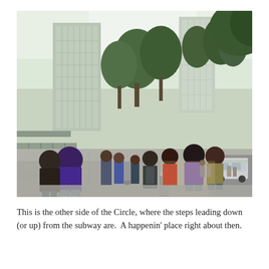[Figure (photo): Street-level photo of a busy urban sidewalk at Columbus Circle, New York City. People are walking along a wide pedestrian area lined with cylindrical bollards. Modern glass skyscrapers and large trees are visible in the background. A police SUV is parked on the right side of the street. The scene is lively with many pedestrians.]
This is the other side of the Circle, where the steps leading down (or up) from the subway are.  A happenin' place right about then.